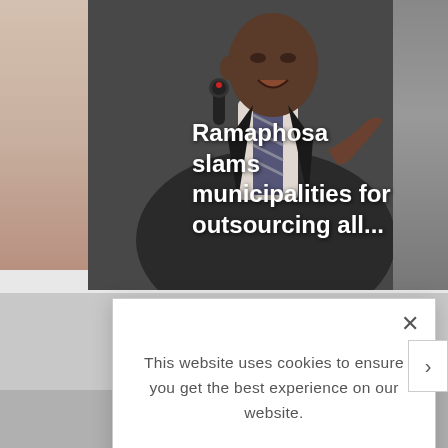[Figure (photo): News website screenshot showing a photo of a man (Ramaphosa) speaking at a microphone, with partial photos on left and right edges. A cookie consent modal dialog overlays the page.]
Ramaphosa slams municipalities for outsourcing all...
This website uses cookies to ensure you get the best experience on our website.
LEARN MORE.
ACCEPT COOKIES